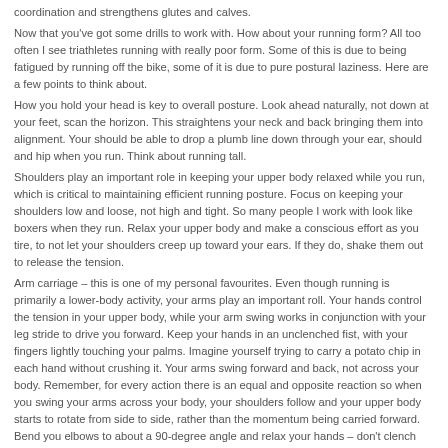coordination and strengthens glutes and calves.
Now that you've got some drills to work with. How about your running form? All too often I see triathletes running with really poor form. Some of this is due to being fatigued by running off the bike, some of it is due to pure postural laziness. Here are a few points to think about.
How you hold your head is key to overall posture. Look ahead naturally, not down at your feet, scan the horizon. This straightens your neck and back bringing them into alignment. Your should be able to drop a plumb line down through your ear, should and hip when you run. Think about running tall.
Shoulders play an important role in keeping your upper body relaxed while you run, which is critical to maintaining efficient running posture. Focus on keeping your shoulders low and loose, not high and tight. So many people I work with look like boxers when they run. Relax your upper body and make a conscious effort as you tire, to not let your shoulders creep up toward your ears. If they do, shake them out to release the tension.
Arm carriage – this is one of my personal favourites. Even though running is primarily a lower-body activity, your arms play an important roll. Your hands control the tension in your upper body, while your arm swing works in conjunction with your leg stride to drive you forward. Keep your hands in an unclenched fist, with your fingers lightly touching your palms. Imagine yourself trying to carry a potato chip in each hand without crushing it. Your arms swing forward and back, not across your body. Remember, for every action there is an equal and opposite reaction so when you swing your arms across your body, your shoulders follow and your upper body starts to rotate from side to side, rather than the momentum being carried forward. Bend you elbows to about a 90-degree angle and relax your hands – don't clench your hands into tight fists. If